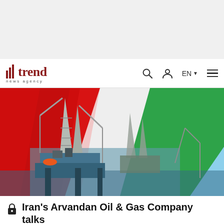[Figure (other): Gray advertisement banner placeholder at top of page]
trend news agency — navigation bar with search, user, EN language selector, and hamburger menu
[Figure (photo): Oil rig platform with cranes in background and large red and white Iranian flag in foreground against blue sky]
Iran's Arvandan Oil & Gas Company talks